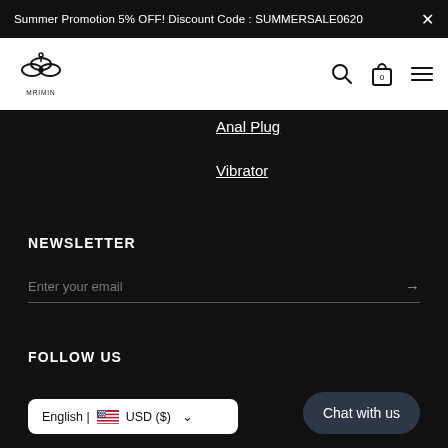Summer Promotion 5% OFF! Discount Code : SUMMERSALE0620
[Figure (logo): MRIMIN brand logo with stylized icon and text]
Anal Plug
Vibrator
NEWSLETTER
Enter your email
FOLLOW US
English | USD ($)
Chat with us